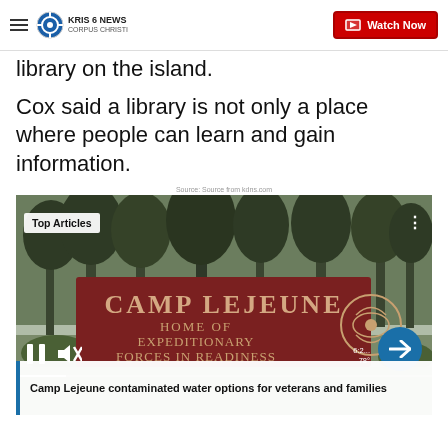KRIS 6 NEWS CORPUS CHRISTI | Watch Now
library on the island.
Cox said a library is not only a place where people can learn and gain information.
Source: Source from kdns.com
[Figure (screenshot): Video player showing Camp Lejeune sign (HOME OF EXPEDITIONARY FORCES IN READINESS) with Top Articles badge, pause/mute controls, and caption: Camp Lejeune contaminated water options for veterans and families]
Camp Lejeune contaminated water options for veterans and families